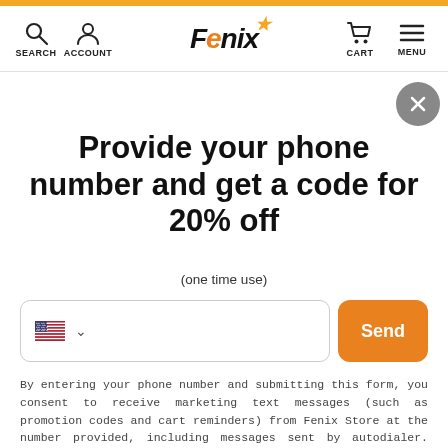SEARCH  ACCOUNT  FENIX  CART  MENU
Provide your phone number and get a code for 20% off
(one time use)
Send
By entering your phone number and submitting this form, you consent to receive marketing text messages (such as promotion codes and cart reminders) from Fenix Store at the number provided, including messages sent by autodialer. Consent is not a condition of any purchase. Message and data rates may apply. Message frequency varies. You can unsubscribe at any time by replying STOP or clicking the